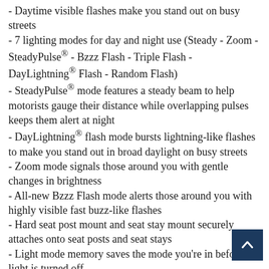- Daytime visible flashes make you stand out on busy streets
- 7 lighting modes for day and night use (Steady - Zoom - SteadyPulse® - Bzzz Flash - Triple Flash - DayLightning® Flash - Random Flash)
- SteadyPulse® mode features a steady beam to help motorists gauge their distance while overlapping pulses keeps them alert at night
- DayLightning® flash mode bursts lightning-like flashes to make you stand out in broad daylight on busy streets
- Zoom mode signals those around you with gentle changes in brightness
- All-new Bzzz Flash mode alerts those around you with highly visible fast buzz-like flashes
- Hard seat post mount and seat stay mount securely attaches onto seat posts and seat stays
- Light mode memory saves the mode you're in before the light is turned off
- Durable and weighs only 60 grams
- IP64 water-resistant for use in all weather conditions
- USB rechargeable with 8 to 200 hours of runtime and 2